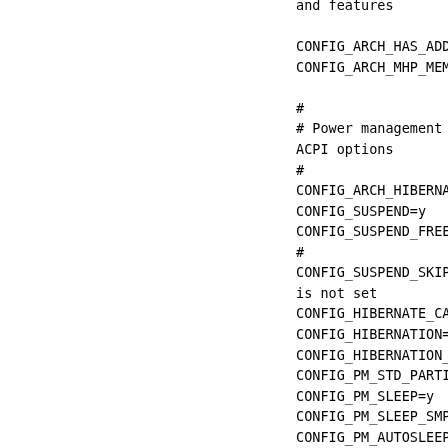and features

CONFIG_ARCH_HAS_ADD_PAGES=
CONFIG_ARCH_MHP_MEMMAP_ON_

#
# Power management and
ACPI options
#
CONFIG_ARCH_HIBERNATION_HE
CONFIG_SUSPEND=y
CONFIG_SUSPEND_FREEZER=y
#
CONFIG_SUSPEND_SKIP_SYNC
is not set
CONFIG_HIBERNATE_CALLBACKS
CONFIG_HIBERNATION=y
CONFIG_HIBERNATION_SNAPSHC
CONFIG_PM_STD_PARTITION=""
CONFIG_PM_SLEEP=y
CONFIG_PM_SLEEP_SMP=y
CONFIG_PM_AUTOSLEEP=y
CONFIG_PM_WAKELOCKS=y
CONFIG_PM_WAKELOCKS_LIMIT=
# CONFIG_PM_WAKELOCKS_GC
is not set
CONFIG_PM=y
CONFIG_PM_DEBUG=y
#
CONFIG_PM_ADVANCED_DEBUG